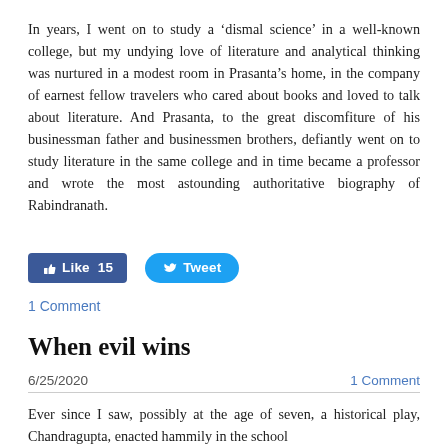In years, I went on to study a ‘dismal science’ in a well-known college, but my undying love of literature and analytical thinking was nurtured in a modest room in Prasanta’s home, in the company of earnest fellow travelers who cared about books and loved to talk about literature. And Prasanta, to the great discomfiture of his businessman father and businessmen brothers, defiantly went on to study literature in the same college and in time became a professor and wrote the most astounding authoritative biography of Rabindranath.
[Figure (other): Facebook Like button showing 15 likes, and a Twitter Tweet button]
1 Comment
When evil wins
6/25/2020
1 Comment
Ever since I saw, possibly at the age of seven, a historical play, Chandragupta, enacted hammily in the school